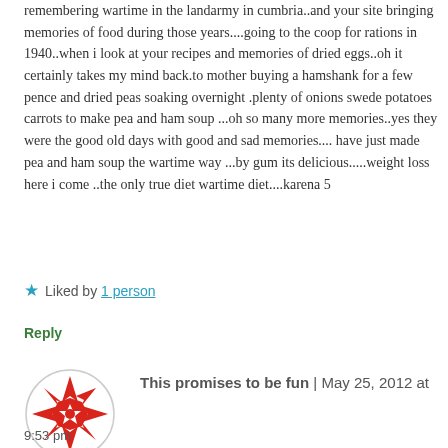remembering wartime in the landarmy in cumbria..and your site bringing memories of food during those years....going to the coop for rations in 1940..when i look at your recipes and memories of dried eggs..oh it certainly takes my mind back.to mother buying a hamshank for a few pence and dried peas soaking overnight .plenty of onions swede potatoes carrots to make pea and ham soup ...oh so many more memories..yes they were the good old days with good and sad memories.... have just made pea and ham soup the wartime way ...by gum its delicious.....weight loss here i come ..the only true diet wartime diet....karena 5
★ Liked by 1 person
Reply
[Figure (logo): Circular avatar with red geometric snowflake/star pattern on white background with grey border]
This promises to be fun | May 25, 2012 at 9:53 pm